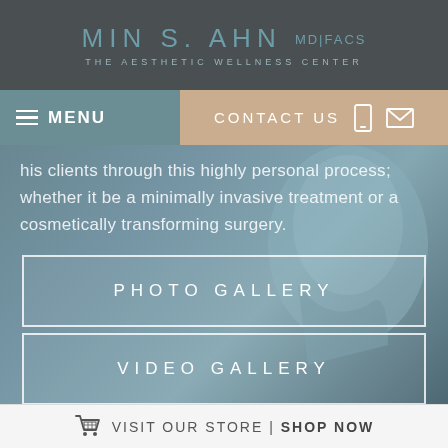MIN S. AHN MD|FACS THE AESTHETIC WELLNESS CENTER
MENU
CONTACT US
his clients through this highly personal process; whether it be a minimally invasive treatment or a cosmetically transforming surgery.
PHOTO GALLERY
VIDEO GALLERY
VISIT OUR STORE | SHOP NOW